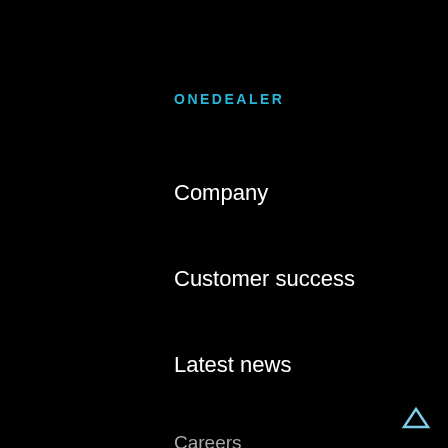ONEDEALER
Company
Customer success
Latest news
Careers
Partners
Contact
PLATFORM
Overview
Digital Sales Workplace
Campaigns management